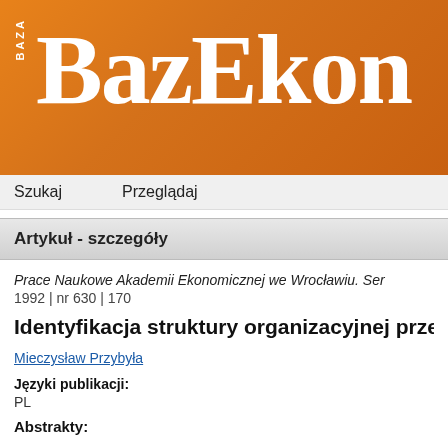[Figure (logo): BazEkon orange gradient banner logo with 'BAZA' text vertically on left and 'BAZEKON' in large white serif font]
Szukaj   Przeglądaj
Artykuł - szczegóły
Prace Naukowe Akademii Ekonomicznej we Wrocławiu. Ser...
1992 | nr 630 | 170
Identyfikacja struktury organizacyjnej przed...
Mieczysław Przybyła
Języki publikacji:
PL
Abstrakty:
Podstawowymi problemami badanymi w tej pracy jest ustalenie konkretnej instytucji, a także możliwość nadania tym cechom t...